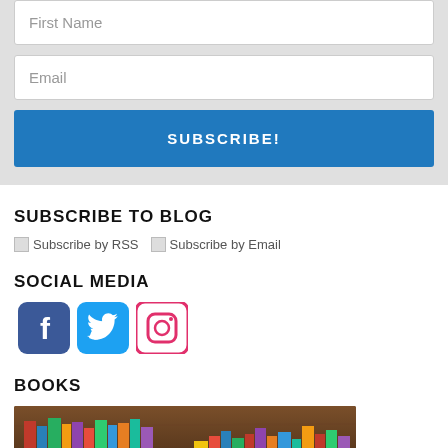[Figure (screenshot): Email subscription form with 'First Name' input field, 'Email' input field, and a blue 'SUBSCRIBE!' button on a gray background]
SUBSCRIBE TO BLOG
Subscribe by RSS  Subscribe by Email
SOCIAL MEDIA
[Figure (illustration): Three social media icons: Facebook (blue), Twitter (light blue), Instagram (pink/red border)]
BOOKS
[Figure (photo): Photo of books on a wooden shelf]